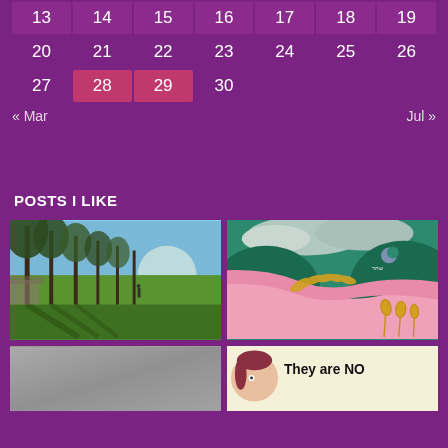| 13 | 14 | 15 | 16 | 17 | 18 | 19 |
| 20 | 21 | 22 | 23 | 24 | 25 | 26 |
| 27 | 28 | 29 | 30 |  |  |  |
« Mar    Jul »
POSTS I LIKE
[Figure (photo): Outdoor park scene with tall eucalyptus trees, green grass, long shadows, person walking in distance, blue sky]
[Figure (illustration): Colorful folk-art style painting with pink river/path winding through teal-green landscape with clouds, moon, and golden wheat motifs]
[Figure (photo): Grey concrete or asphalt surface, partial view]
[Figure (illustration): Cartoon/poster with person face and text starting 'They are NO']